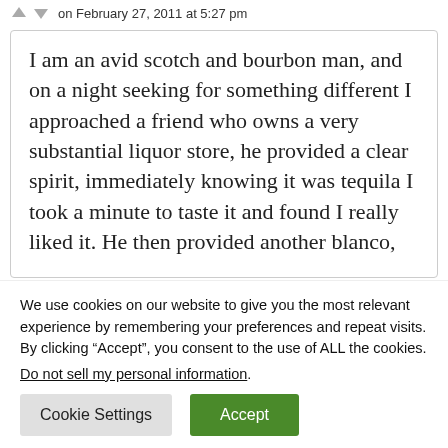on February 27, 2011 at 5:27 pm
I am an avid scotch and bourbon man, and on a night seeking for something different I approached a friend who owns a very substantial liquor store, he provided a clear spirit, immediately knowing it was tequila I took a minute to taste it and found I really liked it. He then provided another blanco,
We use cookies on our website to give you the most relevant experience by remembering your preferences and repeat visits. By clicking “Accept”, you consent to the use of ALL the cookies.
Do not sell my personal information.